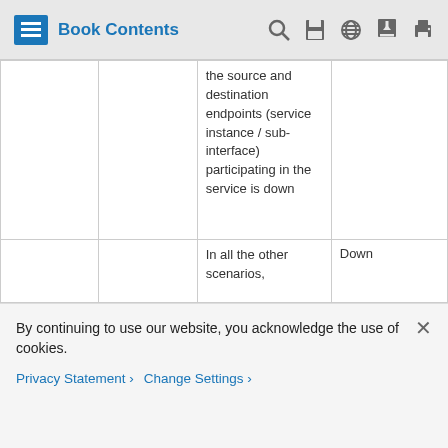Book Contents
|  |  | the source and destination endpoints (service instance / sub-interface) participating in the service is down |  |
|  |  | In all the other scenarios, | Down |
By continuing to use our website, you acknowledge the use of cookies.
Privacy Statement > Change Settings >